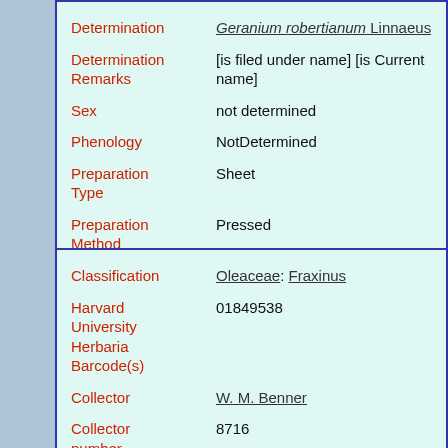| Field | Value |
| --- | --- |
| Determination | Geranium robertianum Linnaeus |
| Determination Remarks | [is filed under name] [is Current name] |
| Sex | not determined |
| Phenology | NotDetermined |
| Preparation Type | Sheet |
| Preparation Method | Pressed |
| Field | Value |
| --- | --- |
| Classification | Oleaceae: Fraxinus |
| Harvard University Herbaria Barcode(s) | 01849538 |
| Collector | W. M. Benner |
| Collector number | 8716 |
| Country | United States of America |
| State | New Jersey |